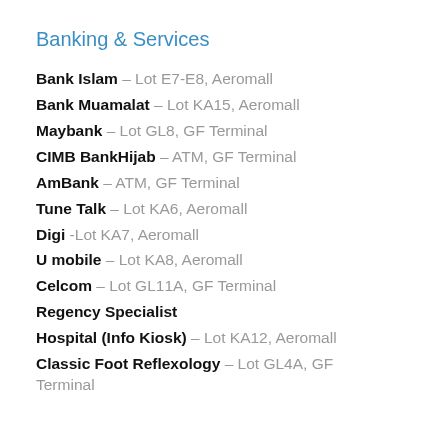Banking & Services
Bank Islam – Lot E7-E8, Aeromall
Bank Muamalat – Lot KA15, Aeromall
Maybank – Lot GL8, GF Terminal
CIMB BankHijab – ATM, GF Terminal
AmBank – ATM, GF Terminal
Tune Talk – Lot KA6, Aeromall
Digi -Lot KA7, Aeromall
U mobile – Lot KA8, Aeromall
Celcom – Lot GL11A, GF Terminal
Regency Specialist
Hospital (Info Kiosk) – Lot KA12, Aeromall
Classic Foot Reflexology – Lot GL4A, GF Terminal